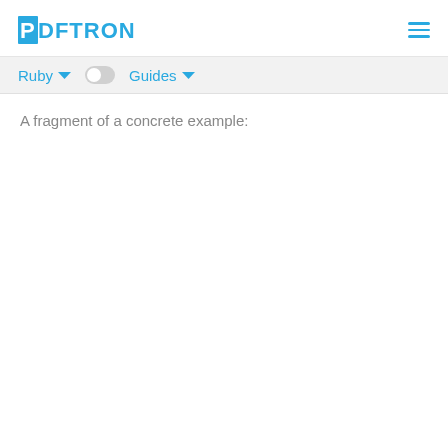PDFTRON
Ruby  Guides
A fragment of a concrete example: